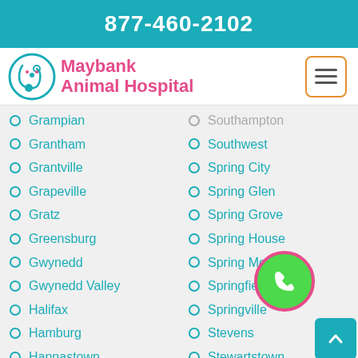877-460-2102
[Figure (logo): Maybank Animal Hospital logo with teal stethoscope and cat/dog icon]
Grampian
Grantham
Grantville
Grapeville
Gratz
Greensburg
Gwynedd
Gwynedd Valley
Halifax
Hamburg
Hannastown
Hanover
Harford
Southampton
Southwest
Spring City
Spring Glen
Spring Grove
Spring House
Spring Mount
Springfield
Springville
Stevens
Stewartstown
Strasburg
Strausstown